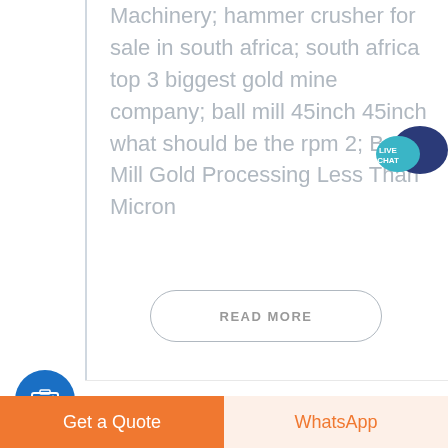Machinery; hammer crusher for sale in south africa; south africa top 3 biggest gold mine company; ball mill 45inch 45inch what should be the rpm 2; Ball Mill Gold Processing Less Than Micron
READ MORE
[Figure (illustration): Live Chat speech bubble icon in teal/dark blue colors]
[Figure (illustration): Blue camera icon in a blue circle button]
AUTOGENOUS MILLS INSTRUCTION
Get a Quote
WhatsApp